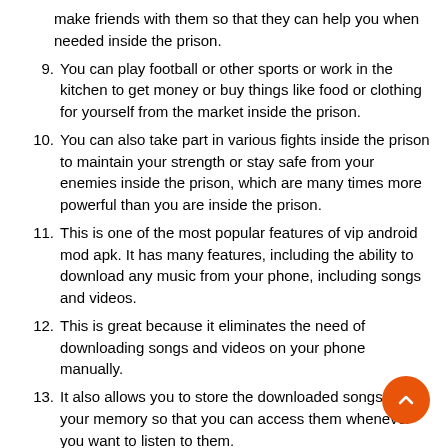make friends with them so that they can help you when needed inside the prison.
9. You can play football or other sports or work in the kitchen to get money or buy things like food or clothing for yourself from the market inside the prison.
10. You can also take part in various fights inside the prison to maintain your strength or stay safe from your enemies inside the prison, which are many times more powerful than you are inside the prison.
11. This is one of the most popular features of vip android mod apk. It has many features, including the ability to download any music from your phone, including songs and videos.
12. This is great because it eliminates the need of downloading songs and videos on your phone manually.
13. It also allows you to store the downloaded songs in your memory so that you can access them whenever you want to listen to them.
14. This is a very useful feature because it allows you to save money by not having to buy new music for your phone every